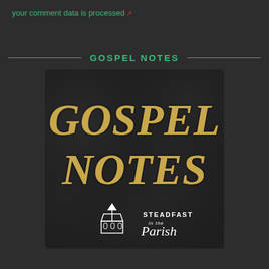your comment data is processed
GOSPEL NOTES
[Figure (logo): Gospel Notes podcast cover art on dark leather-textured background. Large golden italic text reads 'GOSPEL NOTES' with 'Steadfast in the Parish' logo below featuring a church icon.]